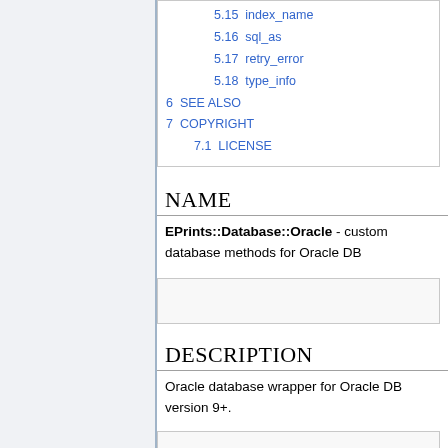5.15  index_name
5.16  sql_as
5.17  retry_error
5.18  type_info
6  SEE ALSO
7  COPYRIGHT
7.1  LICENSE
NAME
EPrints::Database::Oracle - custom database methods for Oracle DB
DESCRIPTION
Oracle database wrapper for Oracle DB version 9+.